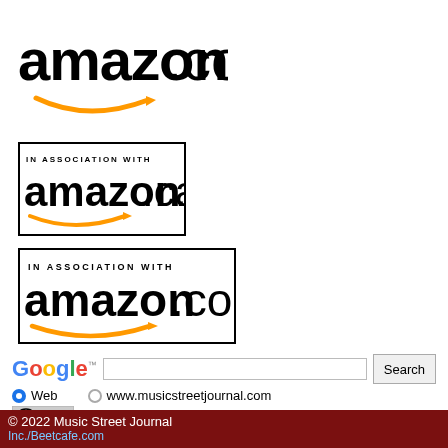[Figure (logo): Amazon.com logo with orange arrow smile]
[Figure (logo): In Association With amazon.ca logo in black border box]
[Figure (logo): In Association With amazon.co.uk logo in black border box]
[Figure (infographic): Google search bar with Web and www.musicstreetjournal.com radio buttons]
[Figure (logo): Creative Commons BY license badge]
This work is licensed under a Creative Commons Attribution 3.0 United States Lice
© 2022 Music Street Journal Inc./Beetcafe.com